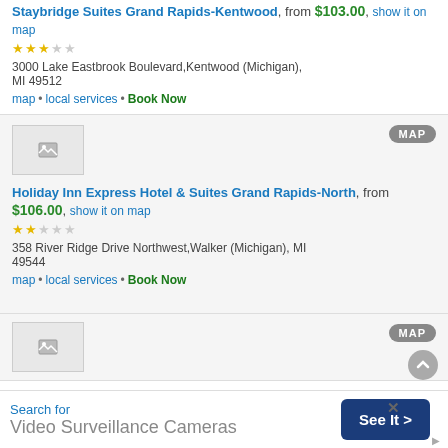Staybridge Suites Grand Rapids-Kentwood, from $103.00, show it on map
3 stars
3000 Lake Eastbrook Boulevard,Kentwood (Michigan), MI 49512
map • local services • Book Now
[Figure (photo): Hotel thumbnail image placeholder with broken image icon]
Holiday Inn Express Hotel & Suites Grand Rapids-North, from $106.00, show it on map
2 stars
358 River Ridge Drive Northwest,Walker (Michigan), MI 49544
map • local services • Book Now
[Figure (photo): Hotel thumbnail image placeholder with broken image icon (second listing)]
Search for
Video Surveillance Cameras
See It >